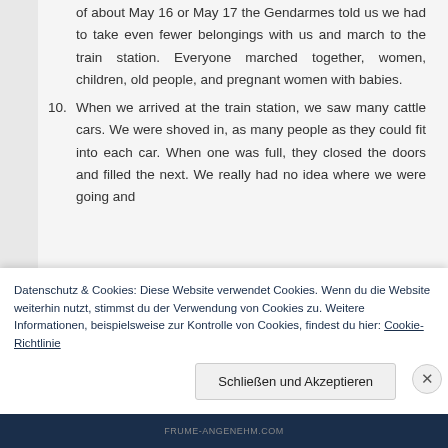of about May 16 or May 17 the Gendarmes told us we had to take even fewer belongings with us and march to the train station. Everyone marched together, women, children, old people, and pregnant women with babies.
10. When we arrived at the train station, we saw many cattle cars. We were shoved in, as many people as they could fit into each car. When one was full, they closed the doors and filled the next. We really had no idea where we were going and
Datenschutz & Cookies: Diese Website verwendet Cookies. Wenn du die Website weiterhin nutzt, stimmst du der Verwendung von Cookies zu. Weitere Informationen, beispielsweise zur Kontrolle von Cookies, findest du hier: Cookie-Richtlinie
Schließen und Akzeptieren